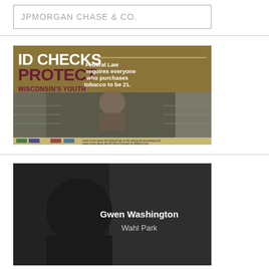[Figure (other): JPMorgan Chase & Co. logo in a bordered box]
[Figure (infographic): ID Checks Protect Wisconsin's Youth advertisement. Gold/brown background with text: 'ID CHECKS PROTECT WISCONSIN'S YOUTH' and 'Federal Law requires everyone who purchases tobacco to be 21.' Shows a convenience store worker at a register. Footer text: 'Learn more about the federal law at dhs.wisconsin.gov/tobacco21 Learn more about the WI Wins Program at WiWins.com']
[Figure (photo): Dark photo of Gwen Washington, Wahl Park, with name and location text overlay in white]